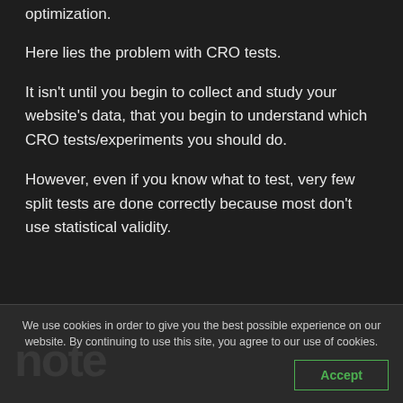optimization.
Here lies the problem with CRO tests.
It isn't until you begin to collect and study your website's data, that you begin to understand which CRO tests/experiments you should do.
However, even if you know what to test, very few split tests are done correctly because most don't use statistical validity.
We use cookies in order to give you the best possible experience on our website. By continuing to use this site, you agree to our use of cookies.